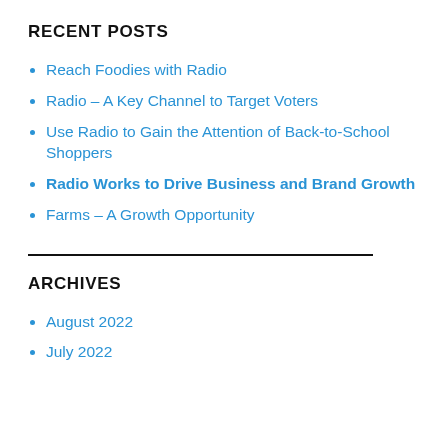RECENT POSTS
Reach Foodies with Radio
Radio – A Key Channel to Target Voters
Use Radio to Gain the Attention of Back-to-School Shoppers
Radio Works to Drive Business and Brand Growth
Farms – A Growth Opportunity
ARCHIVES
August 2022
July 2022